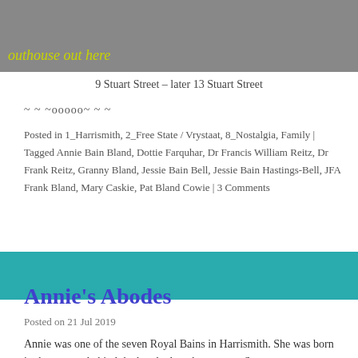[Figure (photo): Photograph with yellow-green text overlay reading 'outhouse out here']
9 Stuart Street – later 13 Stuart Street
~ ~ ~ooooo~ ~ ~
Posted in 1_Harrismith, 2_Free State / Vrystaat, 8_Nostalgia, Family | Tagged Annie Bain Bland, Dottie Farquhar, Dr Francis William Reitz, Dr Frank Reitz, Granny Bland, Jessie Bain Bell, Jessie Bain Hastings-Bell, JFA Frank Bland, Mary Caskie, Pat Bland Cowie | 3 Comments
[Figure (photo): Teal/turquoise banner strip]
Annie's Abodes
Posted on 21 Jul 2019
Annie was one of the seven Royal Bains in Harrismith. She was born in the cottage behind the hotel where her parents Stewart